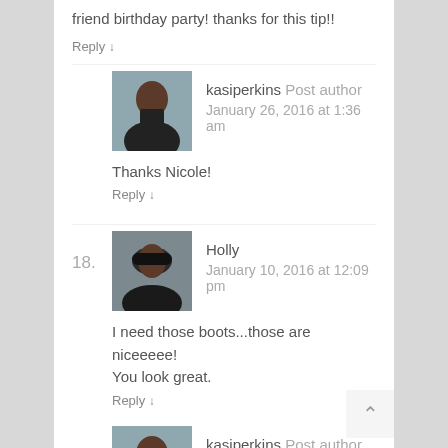friend birthday party! thanks for this tip!!
Reply ↓
kasiperkins Post author
January 26, 2016 at 1:36 am
Thanks Nicole!
Reply ↓
Holly
January 10, 2016 at 12:09 pm
I need those boots...those are niceeeee! You look great.
Reply ↓
kasiperkins Post author
January 26, 2016 at 1:37 am